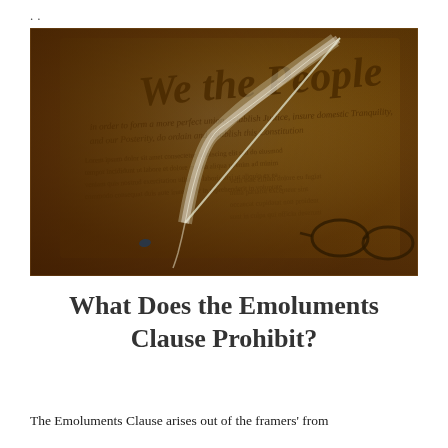..
[Figure (photo): Photograph of the U.S. Constitution parchment document showing 'We the People' in calligraphy, with a white quill feather pen resting on it and spectacles in the lower right corner, warm golden/amber tones.]
What Does the Emoluments Clause Prohibit?
The Emoluments Clause arises out of the framers' from